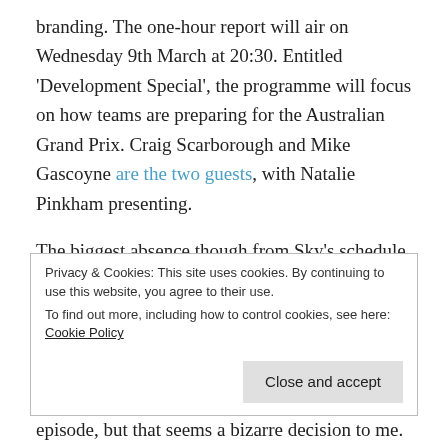branding. The one-hour report will air on Wednesday 9th March at 20:30. Entitled 'Development Special', the programme will focus on how teams are preparing for the Australian Grand Prix. Craig Scarborough and Mike Gascoyne are the two guests, with Natalie Pinkham presenting.
The biggest absence though from Sky's schedule is The F1 Show. There were rumours towards the back end of last year that Sky were planning to axe the live audience studio based episodes, although the show
Privacy & Cookies: This site uses cookies. By continuing to use this website, you agree to their use.
To find out more, including how to control cookies, see here: Cookie Policy
episode, but that seems a bizarre decision to me.